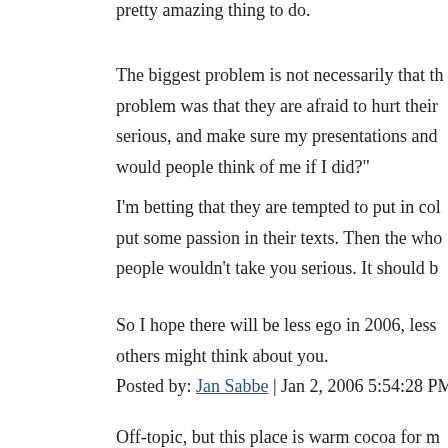pretty amazing thing to do.
The biggest problem is not necessarily that th problem was that they are afraid to hurt their serious, and make sure my presentations and would people think of me if I did?"
I'm betting that they are tempted to put in col put some passion in their texts. Then the who people wouldn't take you serious. It should b
So I hope there will be less ego in 2006, less others might think about you.
Posted by: Jan Sabbe | Jan 2, 2006 5:54:28 PM
Off-topic, but this place is warm cocoa for m
Posted by: Rabbit | Jan 2, 2006 8:46:15 PM
Hear, hear. Love to hear hopes that are about